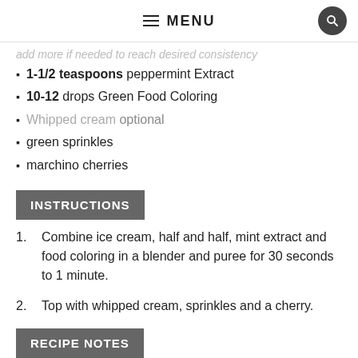≡ MENU
add more if needed to reach desired consistency
1-1/2 teaspoons peppermint Extract
10-12 drops Green Food Coloring
Whipped cream optional
green sprinkles
marchino cherries
INSTRUCTIONS
Combine ice cream, half and half, mint extract and food coloring in a blender and puree for 30 seconds to 1 minute.
Top with whipped cream, sprinkles and a cherry.
Enjoy!
RECIPE NOTES